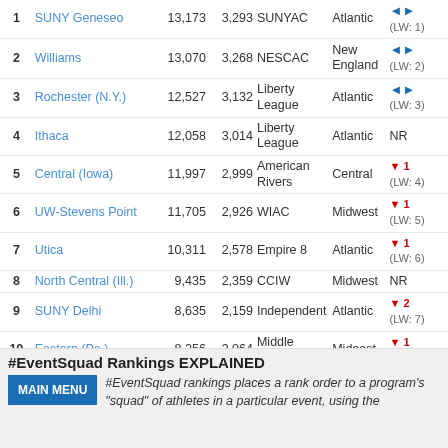| Rank | School | Pts | Avg | Conference | Region | Change |
| --- | --- | --- | --- | --- | --- | --- |
| 1 | SUNY Geneseo | 13,173 | 3,293 | SUNYAC | Atlantic | (LW: 1) |
| 2 | Williams | 13,070 | 3,268 | NESCAC | New England | (LW: 2) |
| 3 | Rochester (N.Y.) | 12,527 | 3,132 | Liberty League | Atlantic | (LW: 3) |
| 4 | Ithaca | 12,058 | 3,014 | Liberty League | Atlantic | NR |
| 5 | Central (Iowa) | 11,997 | 2,999 | American Rivers | Central | ▼ 1 (LW: 4) |
| 6 | UW-Stevens Point | 11,705 | 2,926 | WIAC | Midwest | ▼ 1 (LW: 5) |
| 7 | Utica | 10,311 | 2,578 | Empire 8 | Atlantic | ▼ 1 (LW: 6) |
| 8 | North Central (Ill.) | 9,435 | 2,359 | CCIW | Midwest | NR |
| 9 | SUNY Delhi | 8,635 | 2,159 | Independent | Atlantic | ▼ 2 (LW: 7) |
| 10 | Eastern (Pa.) | 8,256 | 2,064 | Middle Atlantic | Mideast | ▼ 1 (LW: 9) |
| 11 | Alfred State | 8,155 | 2,039 | Independent (D-III) | Mideast | ▼ 3 (LW: 8) |
#EventSquad Rankings EXPLAINED
#EventSquad rankings places a rank order to a program's "squad" of athletes in a particular event, using the